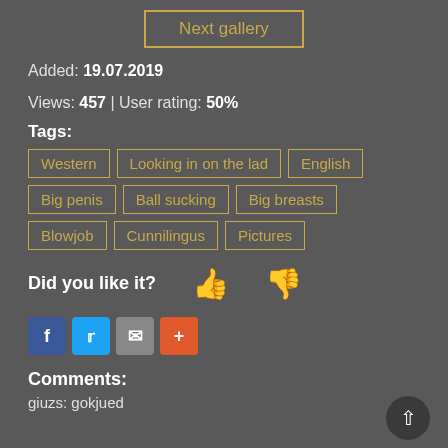Next gallery
Added: 19.07.2019
Views: 457 | User rating: 50%
Tags: Western | Looking in on the lad | English | Big penis | Ball sucking | Big breasts | Blowjob | Cunnilingus | Pictures
Did you like it?
[Figure (infographic): Social share buttons: Facebook (blue), Twitter (blue), Email (grey), Plus/More (orange-red)]
Comments:
giuzs: gokjued